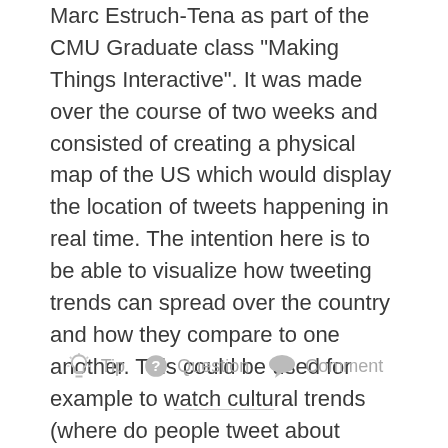Marc Estruch-Tena as part of the CMU Graduate class "Making Things Interactive". It was made over the course of two weeks and consisted of creating a physical map of the US which would display the location of tweets happening in real time. The intention here is to be able to visualize how tweeting trends can spread over the country and how they compare to one another. This could be used for example to watch cultural trends (where do people tweet about coffee and tea?; where do they tweet about Trump or Obama?), or to visualize different reactions during a specific event(where do people tweet about The LA Lakers and the Cleveland Cavaliers during a BasketBall game?).
Tip   Question   Comment